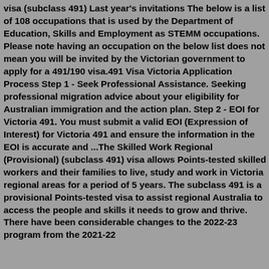visa (subclass 491) Last year's invitations The below is a list of 108 occupations that is used by the Department of Education, Skills and Employment as STEMM occupations. Please note having an occupation on the below list does not mean you will be invited by the Victorian government to apply for a 491/190 visa.491 Visa Victoria Application Process Step 1 - Seek Professional Assistance. Seeking professional migration advice about your eligibility for Australian immigration and the action plan. Step 2 - EOI for Victoria 491. You must submit a valid EOI (Expression of Interest) for Victoria 491 and ensure the information in the EOI is accurate and ...The Skilled Work Regional (Provisional) (subclass 491) visa allows Points-tested skilled workers and their families to live, study and work in Victoria regional areas for a period of 5 years. The subclass 491 is a provisional Points-tested visa to assist regional Australia to access the people and skills it needs to grow and thrive. There have been considerable changes to the 2022-23 program from the 2021-22...